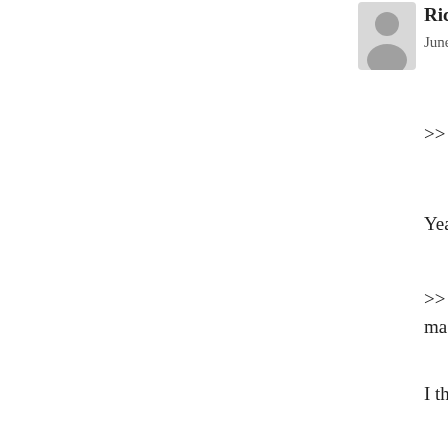[Figure (illustration): Grey avatar/profile placeholder icon for user Richard]
Richard says:
June 7, 2012 at 7:42 am
>> “I’m not trying to convert, just try
Yeah, that’s how it starts…But I’m te
>> “Question everything, people, incl masses aren’t always right.”
I think they are doing just that. They h (PG&E) on the wattage and transmiss what end, I’m not sure, but they have the utilities).
Don’t get me wrong, Shannon…I sha the possibility that a small segment o EHS. I just want to see the hypothesis proposal because it would be too diffi